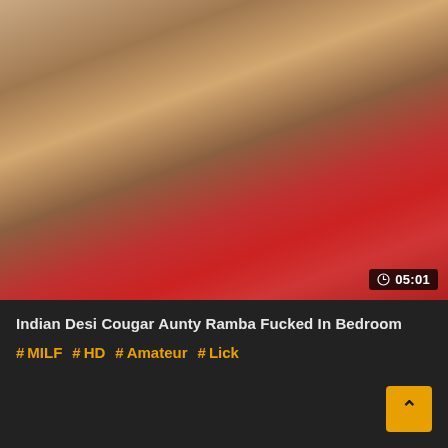[Figure (photo): Video thumbnail showing adult content]
Indian Desi Cougar Aunty Ramba Fucked In Bedroom
#MILF #HD #Amateur #Lick